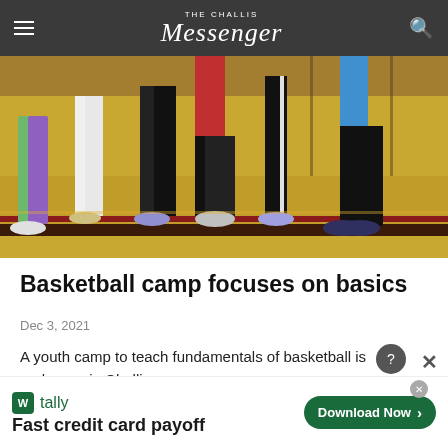The Challis Messenger
[Figure (photo): Children in a gymnasium standing on a yellow basketball court floor, viewed from the waist down, showing their legs, shorts, leggings, and sneakers. A dark stripe on the court and gym walls are visible in the background.]
Basketball camp focuses on basics
Dec 3, 2021
A youth camp to teach fundamentals of basketball is underway in Challis.
[Figure (screenshot): Advertisement banner for Tally app: 'Fast credit card payoff' with a Download Now button]